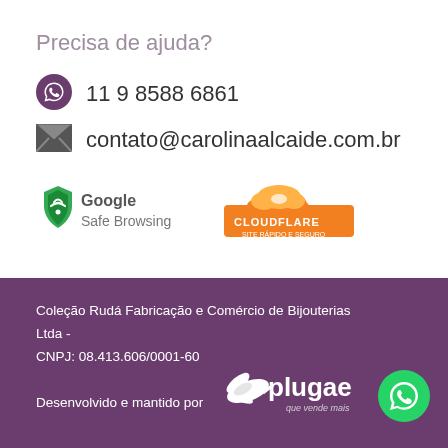Precisa de ajuda?
11 9 8588 6861
contato@carolinaalcaide.com.br
[Figure (logo): Google Safe Browsing badge with green shield icon]
[Figure (logo): Cloudflare Site Rapido e Seguro badge with orange cloud]
Coleção Rudá Fabricação e Comércio de Bijouterias Ltda - CNPJ: 08.413.606/0001-60
Desenvolvido e mantido por
[Figure (logo): Plugae logo with hummingbird - que vende mais]
[Figure (logo): WhatsApp green circular button]